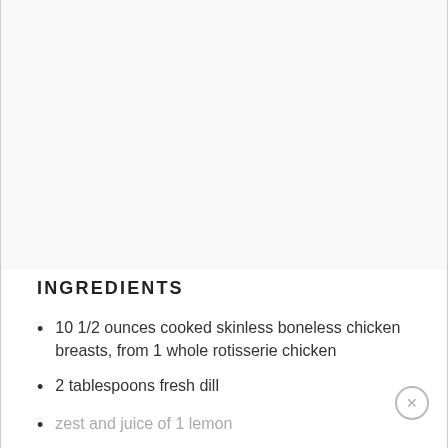[Figure (photo): Large food/recipe photo area (image cropped out of view)]
INGREDIENTS
10 1/2 ounces cooked skinless boneless chicken breasts, from 1 whole rotisserie chicken
2 tablespoons fresh dill
zest and juice of 1 lemon
1 tablespoon extra virgin olive oil